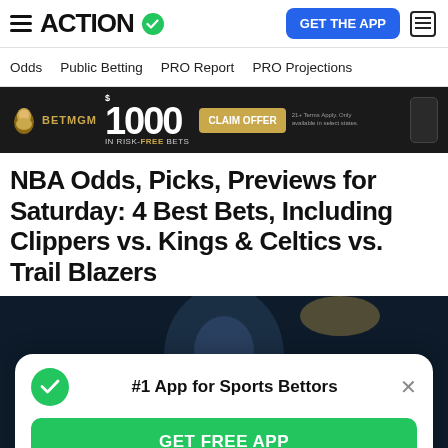ACTION — GET THE APP
Odds  Public Betting  PRO Report  PRO Projections
[Figure (screenshot): BetMGM advertisement banner: $1000 in risk-free bets, CLAIM OFFER button]
NBA Odds, Picks, Previews for Saturday: 4 Best Bets, Including Clippers vs. Kings & Celtics vs. Trail Blazers
[Figure (photo): Basketball player photo with a popup overlay showing '#1 App for Sports Bettors' and GET FREE APP button]